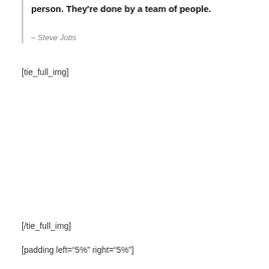person. They're done by a team of people.
– Steve Jobs
[tie_full_img]
[/tie_full_img]
[padding left="5%" right="5%"]